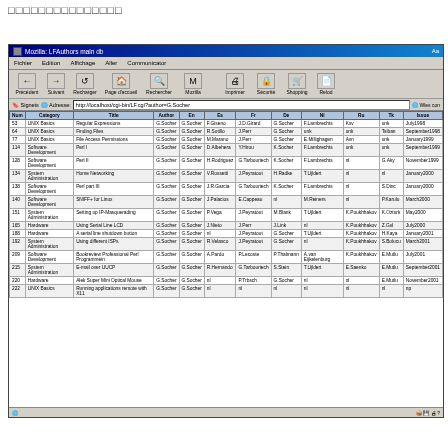□□□□□□□□□□□□□□□
[Figure (screenshot): Netscape/Mozilla browser window showing a CGI database query result at http://localhost/cgi-bin/LF.cgi?author=G.Socher. The page displays a table titled 'Num, Category, Title, Author, En, Es, Fr, De, Nl, Ru, Tk, Issue' with rows of Linux Gazette article records filtered by author G.Socher. Categories include UNIX Basics, Software Development, System Administration, Hardware. Issues range from July1998 to np. Rows include records numbered 53, 64, 77, 114, 128, 134, 138, 140, 151, 165, 188, 192, 209, 215, 220, 222.]